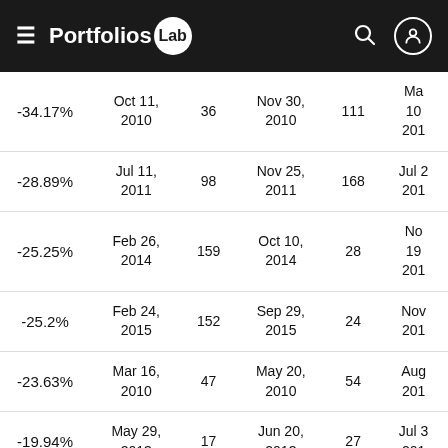Portfolios Lab
| Drawdown % | Start Date | Length | End Date | Recovery | Recovery End |
| --- | --- | --- | --- | --- | --- |
| -34.17% | Oct 11, 2010 | 36 | Nov 30, 2010 | 111 | Ma... 10, 201... |
| -28.89% | Jul 11, 2011 | 98 | Nov 25, 2011 | 168 | Jul 2..., 201... |
| -25.25% | Feb 26, 2014 | 159 | Oct 10, 2014 | 28 | No... 19, 201... |
| -25.2% | Feb 24, 2015 | 152 | Sep 29, 2015 | 24 | Nov..., 201... |
| -23.63% | Mar 16, 2010 | 47 | May 20, 2010 | 54 | Aug..., 201... |
| -19.94% | May 29, 2013 | 17 | Jun 20, 2013 | 27 | Jul 3..., 201... |